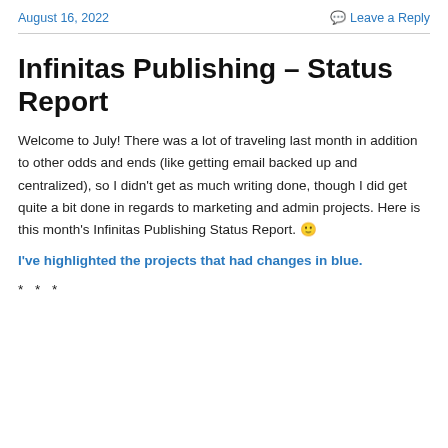August 16, 2022   Leave a Reply
Infinitas Publishing – Status Report
Welcome to July! There was a lot of traveling last month in addition to other odds and ends (like getting email backed up and centralized), so I didn't get as much writing done, though I did get quite a bit done in regards to marketing and admin projects. Here is this month's Infinitas Publishing Status Report. 🙂
I've highlighted the projects that had changes in blue.
* * *